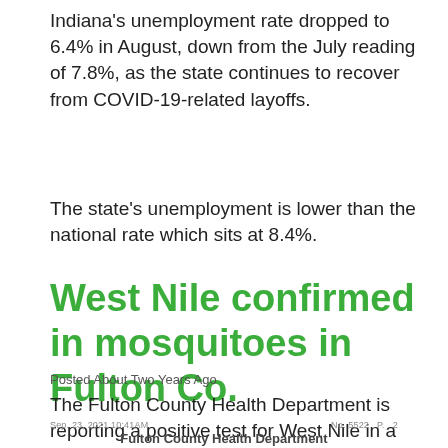Indiana's unemployment rate dropped to 6.4% in August, down from the July reading of 7.8%, as the state continues to recover from COVID-19-related layoffs.
The state's unemployment is lower than the national rate which sits at 8.4%.
West Nile confirmed in mosquitoes in Fulton Co.
Posted About Two Years Ago
The Fulton County Health Department is reporting a positive test for West Nile in a pool of mosquitoes
Sep. 23, 2021 10:41AM   No. 5522  P. 2
Fulton County Health Department